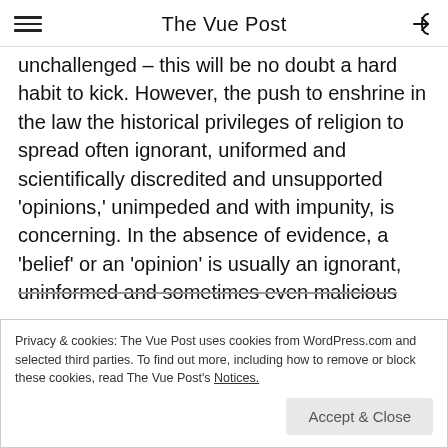The Vue Post
unchallenged – this will be no doubt a hard habit to kick. However, the push to enshrine in the law the historical privileges of religion to spread often ignorant, uniformed and scientifically discredited and unsupported 'opinions,' unimpeded and with impunity, is concerning. In the absence of evidence, a 'belief' or an 'opinion' is usually an ignorant, uninformed and sometimes even malicious
Privacy & cookies: The Vue Post uses cookies from WordPress.com and selected third parties. To find out more, including how to remove or block these cookies, read The Vue Post's Notices.